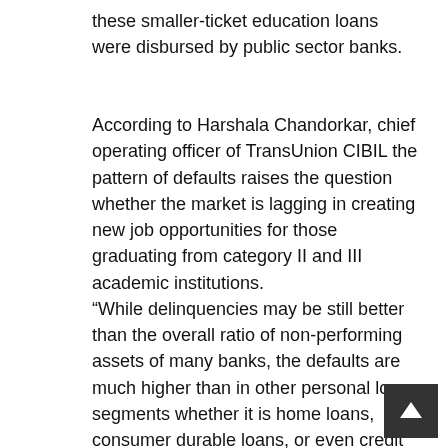these smaller-ticket education loans were disbursed by public sector banks.
According to Harshala Chandorkar, chief operating officer of TransUnion CIBIL the pattern of defaults raises the question whether the market is lagging in creating new job opportunities for those graduating from category II and III academic institutions. “While delinquencies may be still better than the overall ratio of non-performing assets of many banks, the defaults are much higher than in other personal loan segments whether it is home loans, consumer durable loans, or even credit card outstanding,” she said. Incidentally, the defaults that are now being experienced by banks are in respect of defaults witnessed on loans disbursed a few years earlier as education loans contain a moratorium, giving them time until they start earning to repay the loan. TransUnion CIBIL research also indicate that since 2012, the number of new education loans disbursed